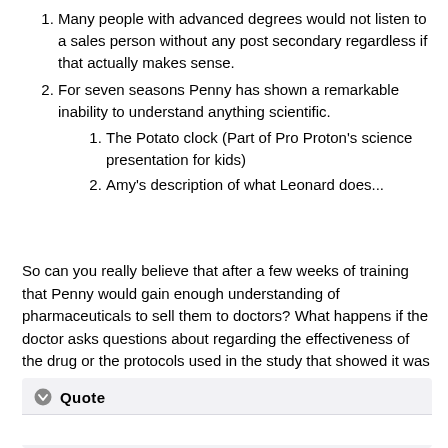Many people with advanced degrees would not listen to a sales person without any post secondary regardless if that actually makes sense.
For seven seasons Penny has shown a remarkable inability to understand anything scientific.
The Potato clock (Part of Pro Proton's science presentation for kids)
Amy's description of what Leonard does...
So can you really believe that after a few weeks of training that Penny would gain enough understanding of pharmaceuticals to sell them to doctors? What happens if the doctor asks questions about regarding the effectiveness of the drug or the protocols used in the study that showed it was effective?
Quote